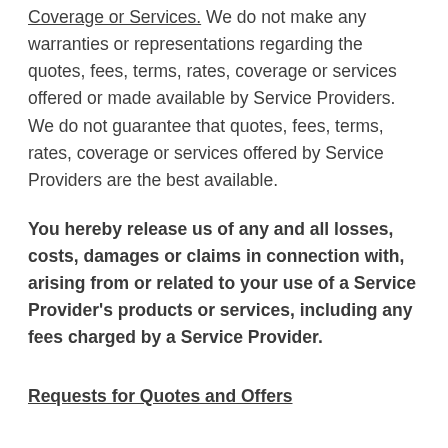Coverage or Services. We do not make any warranties or representations regarding the quotes, fees, terms, rates, coverage or services offered or made available by Service Providers. We do not guarantee that quotes, fees, terms, rates, coverage or services offered by Service Providers are the best available.
You hereby release us of any and all losses, costs, damages or claims in connection with, arising from or related to your use of a Service Provider’s products or services, including any fees charged by a Service Provider.
Requests for Quotes and Offers